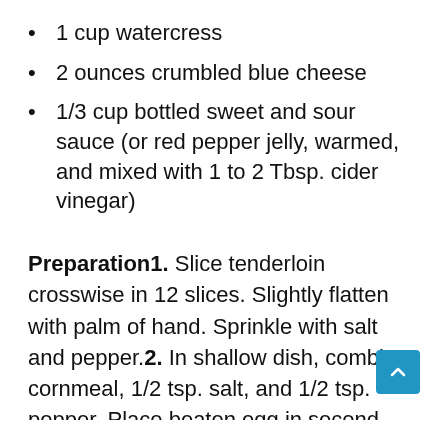1 cup watercress
2 ounces crumbled blue cheese
1/3 cup bottled sweet and sour sauce (or red pepper jelly, warmed, and mixed with 1 to 2 Tbsp. cider vinegar)
Preparation1. Slice tenderloin crosswise in 12 slices. Slightly flatten with palm of hand. Sprinkle with salt and pepper.2. In shallow dish, combine cornmeal, 1/2 tsp. salt, and 1/2 tsp. pepper. Place beaten egg in second shallow dish. Dip tomato slices in egg, then coat in cornmeal mixture; set aside.3. In 12-inch skillet heat 1 Tbsp. oil over medium-high heat. Cook pork for 3 minutes each side, until golden brown outside and slightly pink inside. Transfer to platter; cover to keep warm. 4. Add 1 Tbsp. oil to skillet. Cook